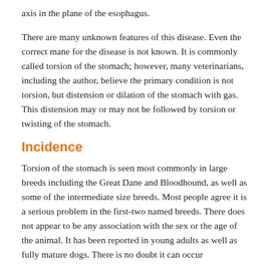axis in the plane of the esophagus.
There are many unknown features of this disease. Even the correct mane for the disease is not known. It is commonly called torsion of the stomach; however, many veterinarians, including the author, believe the primary condition is not torsion, but distension or dilation of the stomach with gas. This distension may or may not be followed by torsion or twisting of the stomach.
Incidence
Torsion of the stomach is seen most commonly in large breeds including the Great Dane and Bloodhound, as well as some of the intermediate size breeds. Most people agree it is a serious problem in the first-two named breeds. There does not appear to be any association with the sex or the age of the animal. It has been reported in young adults as well as fully mature dogs. There is no doubt it can occur